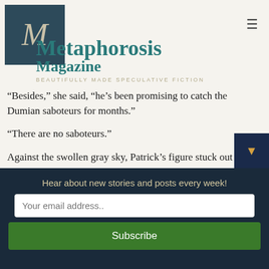[Figure (logo): Metaphorosis Magazine logo: dark teal square with stylized M letter]
Metaphorosis
Magazine
BEAUTIFULLY MADE SPECULATIVE FICTION
“Besides,” she said, “he’s been promising to catch the Dumian saboteurs for months.”
“There are no saboteurs.”
Against the swollen gray sky, Patrick’s figure stuck out like a finger, and, with surprise, Shea realized he couldn’t bring himself to hate him.
Brielle sighed. “I still have my doubts—and, as you can see, Patrick does, too.”
Hear about new stories and posts every week!
Your email address..
Subscribe